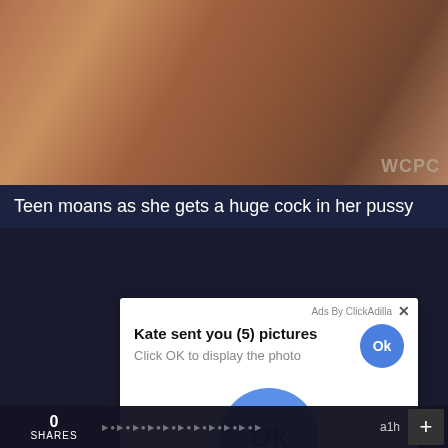[Figure (photo): Close-up photo of a person's legs/torso with WCPO watermark in bottom right corner]
Teen moans as she gets a huge cock in her pussy
[Figure (photo): Video thumbnail showing a person in fishnet stockings with teal background, duration badge showing 5:10]
Ads By ClickAdilla
Kate sent you (5) pictures
Click OK to display the photo
Ok
Ok
0
SHARES
a1h
+